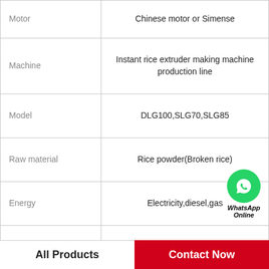| Property | Value |
| --- | --- |
| Motor | Chinese motor or Simense |
| Machine | Instant rice extruder making machine production line |
| Model | DLG100,SLG70,SLG85 |
| Raw material | Rice powder(Broken rice) |
| Energy | Electricity,diesel,gas |
| Application | nutritional ersaz reinforced rice |
| capacity | 100-120KG/H,200-240kg/h,300-350KG/H |
| craft | single or double screw extruder |
[Figure (other): WhatsApp Online green circle phone icon badge with italic text 'WhatsApp Online']
All Products    Contact Now